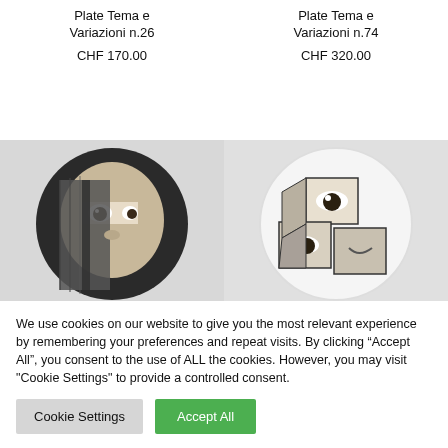Plate Tema e Variazioni n.26
CHF 170.00
Plate Tema e Variazioni n.74
CHF 320.00
[Figure (photo): Decorative plate with a face partially concealed behind a zipper, black and white design]
[Figure (photo): Decorative plate with a fragmented cubist-style face, black and white design]
We use cookies on our website to give you the most relevant experience by remembering your preferences and repeat visits. By clicking “Accept All”, you consent to the use of ALL the cookies. However, you may visit "Cookie Settings" to provide a controlled consent.
Cookie Settings
Accept All